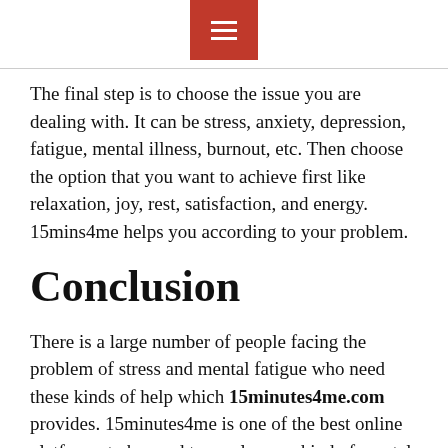hamburger menu icon
The final step is to choose the issue you are dealing with. It can be stress, anxiety, depression, fatigue, mental illness, burnout, etc. Then choose the option that you want to achieve first like relaxation, joy, rest, satisfaction, and energy. 15mins4me helps you according to your problem.
Conclusion
There is a large number of people facing the problem of stress and mental fatigue who need these kinds of help which 15minutes4me.com provides. 15minutes4me is one of the best online platforms to be used to resolve any kind of mental issue or illness.
If there is any kind of issue or you are facing any